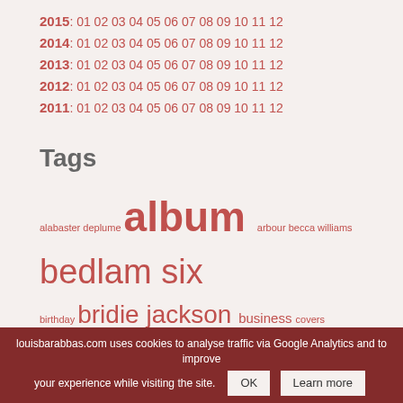2015: 01 02 03 04 05 06 07 08 09 10 11 12
2014: 01 02 03 04 05 06 07 08 09 10 11 12
2013: 01 02 03 04 05 06 07 08 09 10 11 12
2012: 01 02 03 04 05 06 07 08 09 10 11 12
2011: 01 02 03 04 05 06 07 08 09 10 11 12
Tags
alabaster deplume album arbour becca williams bedlam six birthday bridie jackson business covers dancehouse theatre debt records diary fab radio international felix hagan fresh on the net gentle songs of ceaseless horror get religion honeyfeet hope
louisbarabbas.com uses cookies to analyse traffic via Google Analytics and to improve your experience while visiting the site. OK Learn more